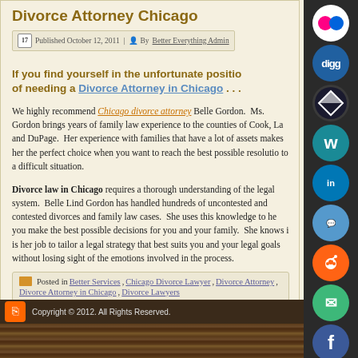Divorce Attorney Chicago
Published October 12, 2011 | By Better Everything Admin
If you find yourself in the unfortunate position of needing a Divorce Attorney in Chicago . . .
We highly recommend Chicago divorce attorney Belle Gordon. Ms. Gordon brings years of family law experience to the counties of Cook, La and DuPage. Her experience with families that have a lot of assets makes her the perfect choice when you want to reach the best possible resolution to a difficult situation.
Divorce law in Chicago requires a thorough understanding of the legal system. Belle Lind Gordon has handled hundreds of uncontested and contested divorces and family law cases. She uses this knowledge to help you make the best possible decisions for you and your family. She knows it is her job to tailor a legal strategy that best suits you and your legal goals without losing sight of the emotions involved in the process.
Posted in Better Services, Chicago Divorce Lawyer, Divorce Attorney, Divorce Attorney in Chicago, Divorce Lawyers
Copyright © 2012. All Rights Reserved.